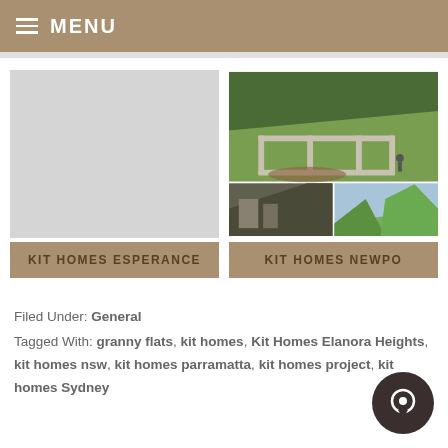MENU
[Figure (photo): Blank/placeholder image for Kit Homes Esperance]
[Figure (photo): Construction site photo showing foundation frames on a hillside with trees, plus two smaller photos below]
KIT HOMES ESPERANCE
KIT HOMES NEWPO
Filed Under: General
Tagged With: granny flats, kit homes, Kit Homes Elanora Heights, kit homes nsw, kit homes parramatta, kit homes project, kit homes Sydney